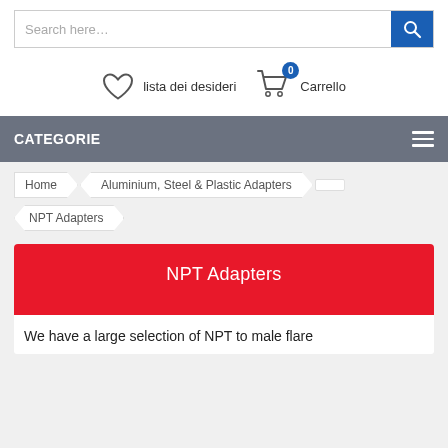[Figure (screenshot): Search bar with text 'Search here...' and a blue search button with magnifying glass icon]
[Figure (screenshot): Navigation icons: heart icon labeled 'lista dei desideri', shopping cart icon with badge '0' labeled 'Carrello']
CATEGORIE
Home > Aluminium, Steel & Plastic Adapters > NPT Adapters
NPT Adapters
We have a large selection of NPT to male flare